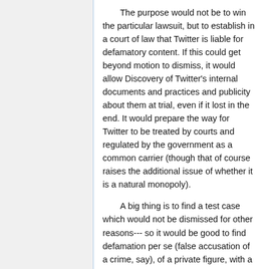The purpose would not be to win the particular lawsuit, but to establish in a court of law that Twitter is liable for defamatory content. If this could get beyond motion to dismiss, it would allow Discovery of Twitter's internal documents and practices and publicity about them at trial, even if it lost in the end. It would prepare the way for Twitter to be treated by courts and regulated by the government as a common carrier (though that of course raises the additional issue of whether it is a natural monopoly).
A big thing is to find a test case which would not be dismissed for other reasons--- so it would be good to find defamation per se (false accusation of a crime, say), of a private figure, with a